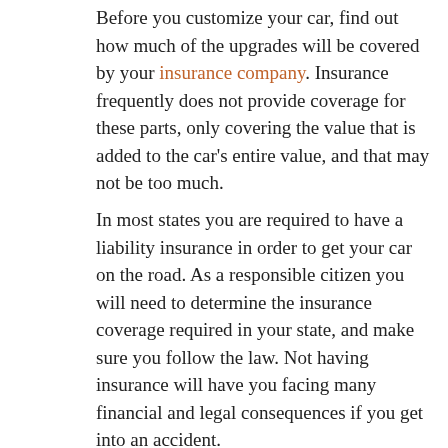Before you customize your car, find out how much of the upgrades will be covered by your insurance company. Insurance frequently does not provide coverage for these parts, only covering the value that is added to the car's entire value, and that may not be too much.
In most states you are required to have a liability insurance in order to get your car on the road. As a responsible citizen you will need to determine the insurance coverage required in your state, and make sure you follow the law. Not having insurance will have you facing many financial and legal consequences if you get into an accident.
If you need to save money, choose a higher deductible. This move has some risk, but is will save you some cash. If you do it, put the extra money in a savings account so that you do have it, should you